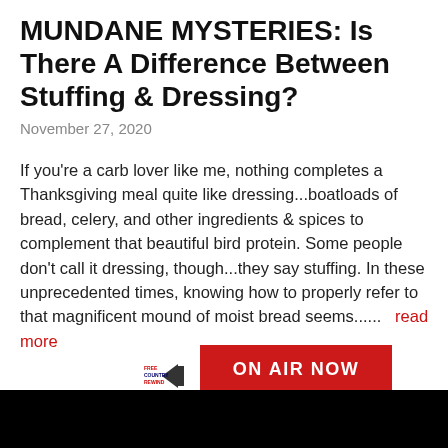MUNDANE MYSTERIES: Is There A Difference Between Stuffing & Dressing?
November 27, 2020
If you're a carb lover like me, nothing completes a Thanksgiving meal quite like dressing...boatloads of bread, celery, and other ingredients & spices to complement that beautiful bird protein. Some people don't call it dressing, though...they say stuffing. In these unprecedented times, knowing how to properly refer to that magnificent mound of moist bread seems......  read more
[Figure (logo): Free Country Rewind logo with play arrow]
[Figure (infographic): ON AIR NOW red button]
Free Country Rewind
8:00 a.m. - 12:00 p.m.